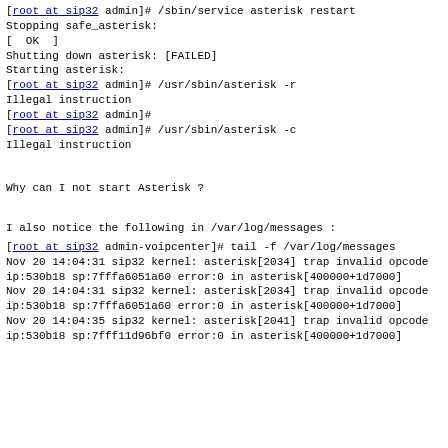[root at sip32 admin]# /sbin/service asterisk restart
Stopping safe_asterisk:
[  OK  ]
Shutting down asterisk: [FAILED]
Starting asterisk:
[root at sip32 admin]# /usr/sbin/asterisk -r
Illegal instruction
[root at sip32 admin]#
[root at sip32 admin]# /usr/sbin/asterisk -c
Illegal instruction
Why can I not start Asterisk ?
I also notice the following in /var/log/messages :
[root at sip32 admin-voipcenter]# tail -f /var/log/messages
Nov 20 14:04:31 sip32 kernel: asterisk[2034] trap invalid opcode
ip:530b18 sp:7fffa6051a60 error:0 in asterisk[400000+1d7000]
Nov 20 14:04:31 sip32 kernel: asterisk[2034] trap invalid opcode
ip:530b18 sp:7fffa6051a60 error:0 in asterisk[400000+1d7000]
Nov 20 14:04:35 sip32 kernel: asterisk[2041] trap invalid opcode
ip:530b18 sp:7fff11d96bf0 error:0 in asterisk[400000+1d7000]